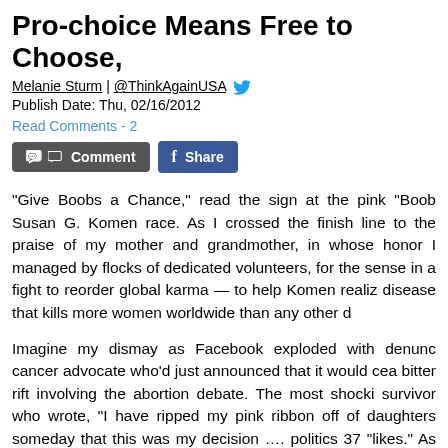Pro-choice Means Free to Choose,
Melanie Sturm | @ThinkAgainUSA
Publish Date: Thu, 02/16/2012
Read Comments - 2
“Give Boobs a Chance,” read the sign at the pink “Boob Susan G. Komen race. As I crossed the finish line to the praise of my mother and grandmother, in whose honor I managed by flocks of dedicated volunteers, for the sense in a fight to reorder global karma — to help Komen realiz disease that kills more women worldwide than any other d
Imagine my dismay as Facebook exploded with denunc cancer advocate who’d just announced that it would cea bitter rift involving the abortion debate. The most shocki survivor who wrote, “I have ripped my pink ribbon off of daughters someday that this was my decision …. politics 37 “likes.” As the “Komen betrayal of women’s health” nar
My first thought was how negligent Komen board trus controversies) were to have allowed the nation’s largest a to get embroiled in the no-win abortion debate. Since A